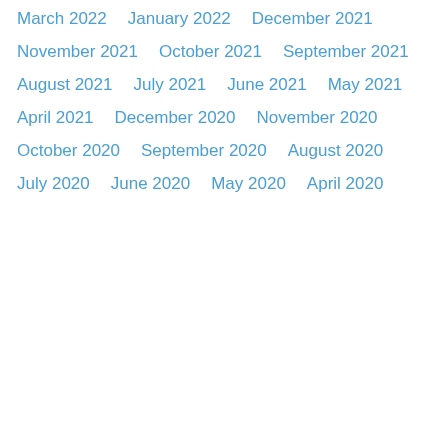March 2022
January 2022
December 2021
November 2021
October 2021
September 2021
August 2021
July 2021
June 2021
May 2021
April 2021
December 2020
November 2020
October 2020
September 2020
August 2020
July 2020
June 2020
May 2020
April 2020